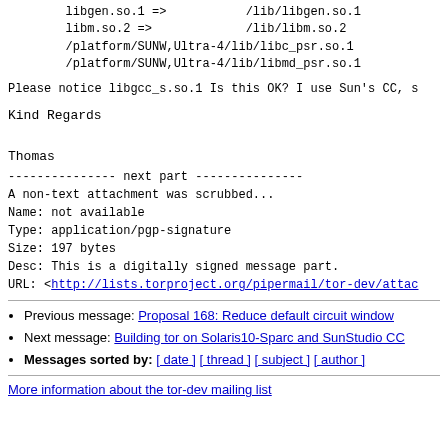libgen.so.1 =>           /lib/libgen.so.1
libm.so.2 =>             /lib/libm.so.2
/platform/SUNW,Ultra-4/lib/libc_psr.so.1
/platform/SUNW,Ultra-4/lib/libmd_psr.so.1
Please notice libgcc_s.so.1 Is this OK? I use Sun's CC, s
Kind Regards

Thomas
--------------- next part ---------------
A non-text attachment was scrubbed...
Name: not available
Type: application/pgp-signature
Size: 197 bytes
Desc: This is a digitally signed message part.
URL: <http://lists.torproject.org/pipermail/tor-dev/attac
Previous message: Proposal 168: Reduce default circuit window
Next message: Building tor on Solaris10-Sparc and SunStudio CC
Messages sorted by: [ date ] [ thread ] [ subject ] [ author ]
More information about the tor-dev mailing list